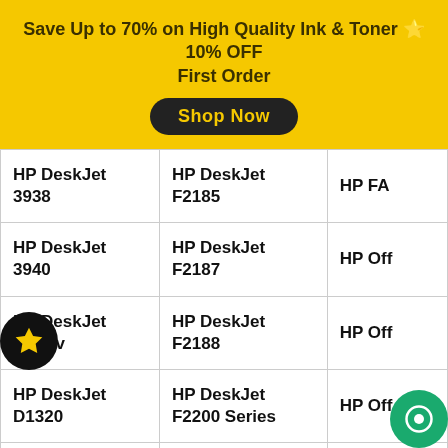Save Up to 70% on High Quality Ink & Toner ⭐ 10% OFF First Order
Shop Now
| HP DeskJet 3938 | HP DeskJet F2185 | HP FA |
| HP DeskJet 3940 | HP DeskJet F2187 | HP Off |
| HP DeskJet 3940 v | HP DeskJet F2188 | HP Off |
| HP DeskJet D1320 | HP DeskJet F2200 Series | HP Off v |
| HP DeskJet D1330 | HP DeskJet F2210 | HP Off xi |